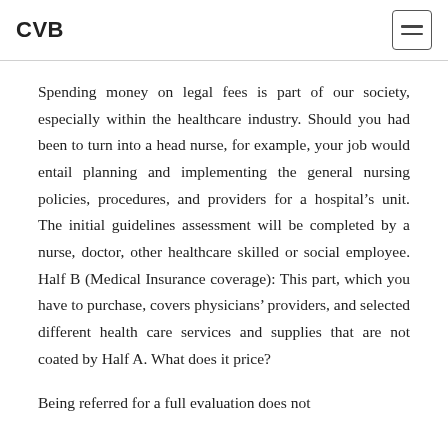CVB
Spending money on legal fees is part of our society, especially within the healthcare industry. Should you had been to turn into a head nurse, for example, your job would entail planning and implementing the general nursing policies, procedures, and providers for a hospital's unit. The initial guidelines assessment will be completed by a nurse, doctor, other healthcare skilled or social employee. Half B (Medical Insurance coverage): This part, which you have to purchase, covers physicians' providers, and selected different health care services and supplies that are not coated by Half A. What does it price?
Being referred for a full evaluation does not